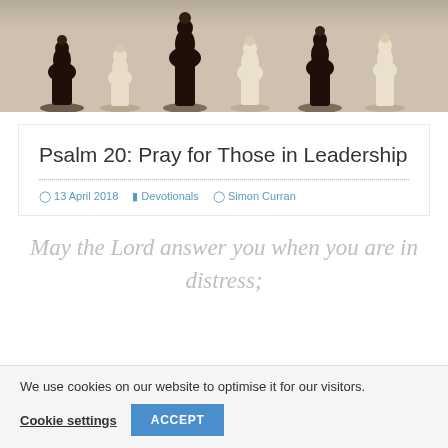[Figure (photo): Photograph of chess pieces — dark and light pieces in a row, close-up]
Psalm 20: Pray for Those in Leadership
13 April 2018   Devotionals   Simon Curran
May the Lord answer you when you are in distress;
We use cookies on our website to optimise it for our visitors.
Cookie settings   ACCEPT